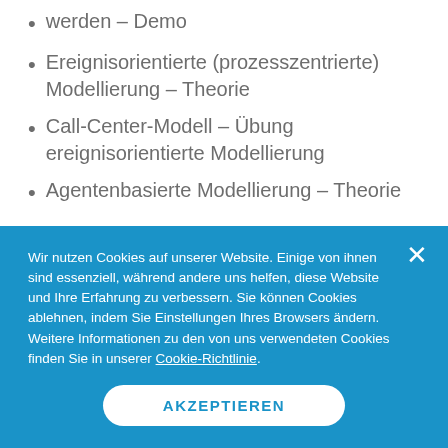werden – Demo
Ereignisorientierte (prozesszentrierte) Modellierung – Theorie
Call-Center-Modell – Übung ereignisorientierte Modellierung
Agentenbasierte Modellierung – Theorie
Tag 2
Wir nutzen Cookies auf unserer Website. Einige von ihnen sind essenziell, während andere uns helfen, diese Website und Ihre Erfahrung zu verbessern. Sie können Cookies ablehnen, indem Sie Einstellungen Ihres Browsers ändern. Weitere Informationen zu den von uns verwendeten Cookies finden Sie in unserer Cookie-Richtlinie.